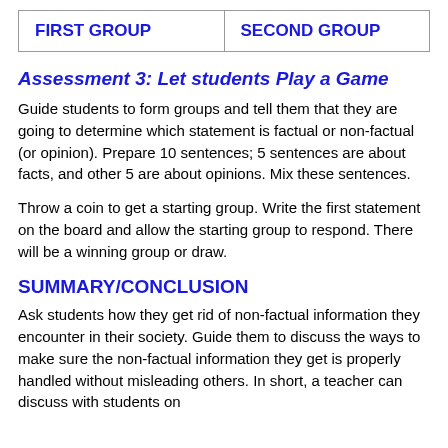| FIRST GROUP | SECOND GROUP |
| --- | --- |
Assessment 3: Let students Play a Game
Guide students to form groups and tell them that they are going to determine which statement is factual or non-factual (or opinion). Prepare 10 sentences; 5 sentences are about facts, and other 5 are about opinions. Mix these sentences.
Throw a coin to get a starting group. Write the first statement on the board and allow the starting group to respond. There will be a winning group or draw.
SUMMARY/CONCLUSION
Ask students how they get rid of non-factual information they encounter in their society. Guide them to discuss the ways to make sure the non-factual information they get is properly handled without misleading others. In short, a teacher can discuss with students on